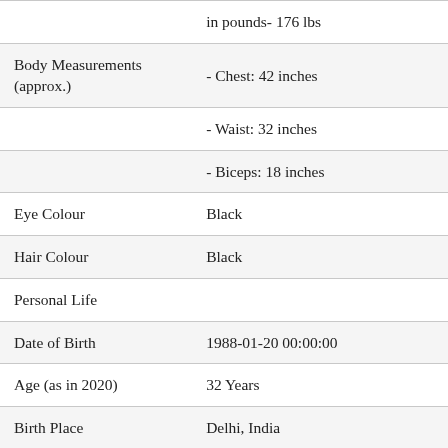|  |  |
| --- | --- |
|  | in pounds- 176 lbs |
| Body Measurements (approx.) | - Chest: 42 inches |
|  | - Waist: 32 inches |
|  | - Biceps: 18 inches |
| Eye Colour | Black |
| Hair Colour | Black |
| Personal Life |  |
| Date of Birth | 1988-01-20 00:00:00 |
| Age (as in 2020) | 32 Years |
| Birth Place | Delhi, India |